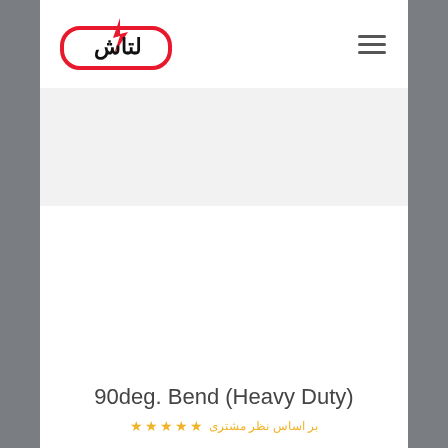[Figure (logo): Company logo with Persian text inside a red rounded rectangle border, with a red lightning bolt above]
90deg. Bend (Heavy Duty)
[Figure (other): Star rating row in yellow/orange color at the bottom of the page]